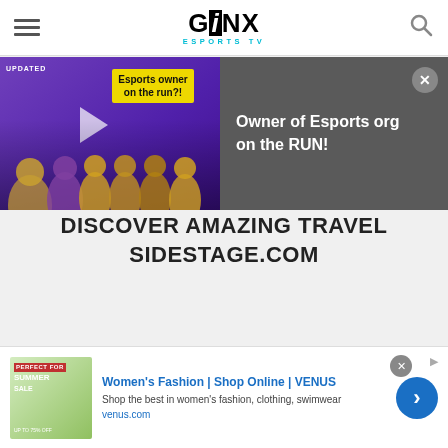GINX ESPORTSTV — navigation bar with hamburger menu and search icon
[Figure (screenshot): Video popup overlay showing esports news story thumbnail on the left (purple background with team photo and yellow label 'Esports owner on the run?!') and text panel on the right with title 'Owner of Esports org on the RUN!' on dark grey background, with close button]
DISCOVER AMAZING TRAVEL
SIDESTAGE.COM
[Figure (screenshot): Bottom advertisement banner for Venus.com: 'Women's Fashion | Shop Online | VENUS — Shop the best in women's fashion, clothing, swimwear — venus.com' with Summer Sale image and blue arrow button]